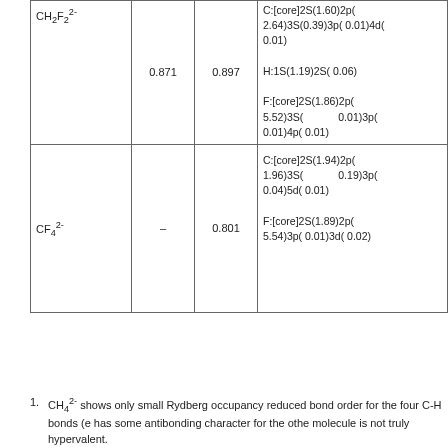|  |  |  |  |
| --- | --- | --- | --- |
| CH₂F₂²⁻ | 0.871 | 0.897 | C:[core]2S(1.60)2p(2.64)3S(0.39)3p( 0.01)4d( 0.01)
H:1S(1.19)2S( 0.06)
F:[core]2S(1.86)2p(5.52)3S( 0.01)3p( 0.01)4p( 0.01) |
| CF₄²⁻ | – | 0.801 | C:[core]2S(1.94)2p(1.96)3S( 0.19)3p( 0.04)5d( 0.01)
F:[core]2S(1.89)2p(5.54)3p( 0.01)3d( 0.02) |
CH₄²⁻ shows only small Rydberg occupancy and reduced bond order for the four C-H bonds (e... has some antibonding character for the other... molecule is not truly hypervalent.
CH₃F²⁻ in contrast shows quite different behav... almost 1 and the C-F bond order is actually hi...